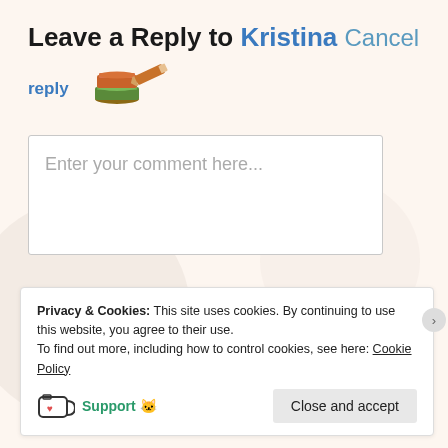Leave a Reply to Kristina Cancel
reply
[Figure (illustration): Stack of books emoji and an eraser/pencil emoji]
[Figure (screenshot): Comment text input box with placeholder text: Enter your comment here...]
Privacy & Cookies: This site uses cookies. By continuing to use this website, you agree to their use.
To find out more, including how to control cookies, see here: Cookie Policy
Support 💙
Close and accept